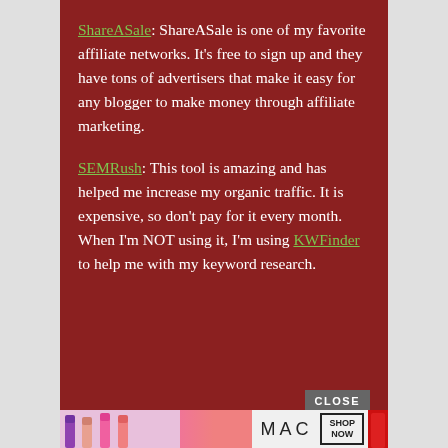ShareASale: ShareASale is one of my favorite affiliate networks. It's free to sign up and they have tons of advertisers that make it easy for any blogger to make money through affiliate marketing.
SEMRush: This tool is amazing and has helped me increase my organic traffic. It is expensive, so don't pay for it every month. When I'm NOT using it, I'm using KWFinder to help me with my keyword research.
[Figure (other): MAC cosmetics advertisement showing lipsticks in purple, pink, and red with MAC logo and SHOP NOW button]